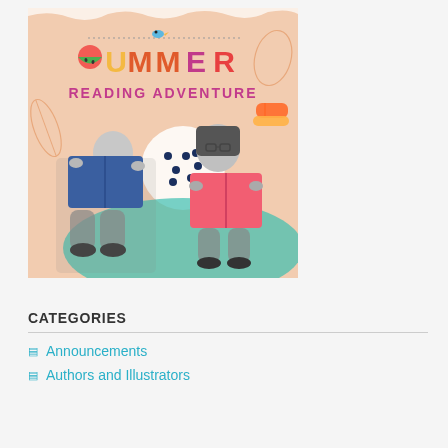[Figure (illustration): Summer Reading Adventure promotional image showing two children reading books (a boy with a large blue book and a girl with glasses reading a pink book), set against a colorful summer-themed illustrated background with the text 'SUMMER READING ADVENTURE' in decorative lettering]
CATEGORIES
Announcements
Authors and Illustrators